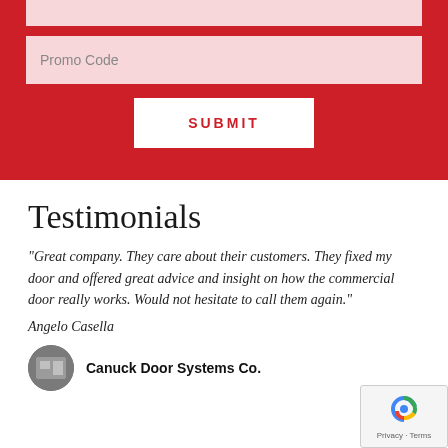[Figure (screenshot): A Promo Code input field (pink/light red background) inside a red container]
[Figure (screenshot): A SUBMIT button (white background, red uppercase text) centered in the red container]
Testimonials
“Great company. They care about their customers. They fixed my door and offered great advice and insight on how the commercial door really works. Would not hesitate to call them again.”
Angelo Casella
Canuck Door Systems Co.
[Figure (logo): Canuck Door Systems Co. circular logo thumbnail on the left side]